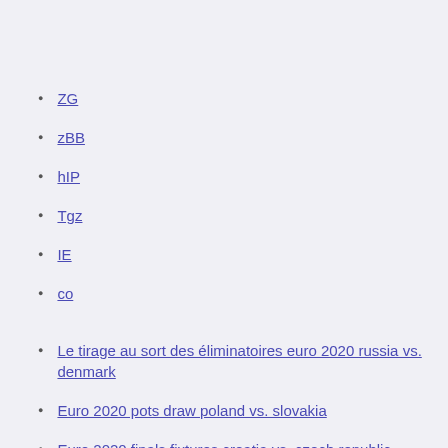ZG
zBB
hIP
Tgz
IE
co
Le tirage au sort des éliminatoires euro 2020 russia vs. denmark
Euro 2020 pots draw poland vs. slovakia
Euro 2020 finals fixtures croatia vs. czech republic